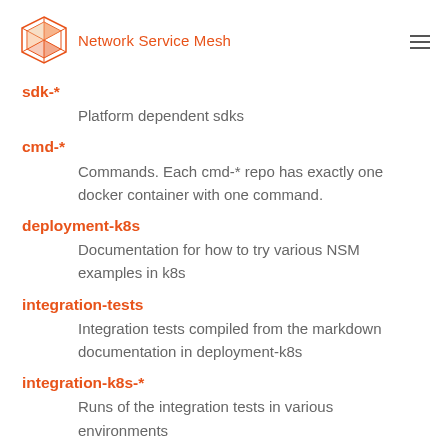Network Service Mesh
sdk-*
Platform dependent sdks
cmd-*
Commands. Each cmd-* repo has exactly one docker container with one command.
deployment-k8s
Documentation for how to try various NSM examples in k8s
integration-tests
Integration tests compiled from the markdown documentation in deployment-k8s
integration-k8s-*
Runs of the integration tests in various environments